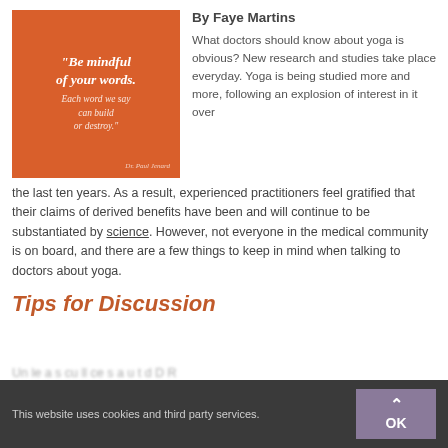[Figure (illustration): Orange square with italic white quote text: "Be mindful of your words. Each word we say can build or destroy." attributed to Dr. Paul Jenard]
By Faye Martins
What doctors should know about yoga is obvious? New research and studies take place everyday. Yoga is being studied more and more, following an explosion of interest in it over the last ten years. As a result, experienced practitioners feel gratified that their claims of derived benefits have been and will continue to be substantiated by science. However, not everyone in the medical community is on board, and there are a few things to keep in mind when talking to doctors about yoga.
Tips for Discussion
This website uses cookies and third party services.